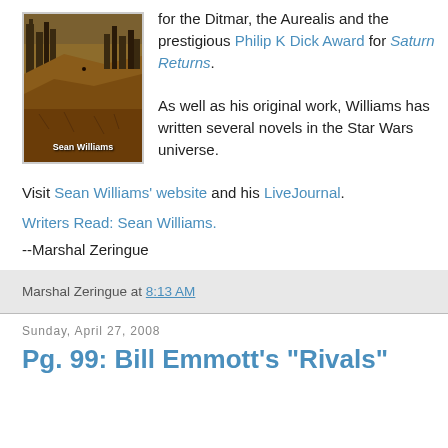[Figure (illustration): Book cover for a Sean Williams novel, showing a fantasy/sci-fi cityscape with the author name 'Sean Williams' at the bottom.]
for the Ditmar, the Aurealis and the prestigious Philip K Dick Award for Saturn Returns.
As well as his original work, Williams has written several novels in the Star Wars universe.
Visit Sean Williams' website and his LiveJournal.
Writers Read: Sean Williams.
--Marshal Zeringue
Marshal Zeringue at 8:13 AM
Sunday, April 27, 2008
Pg. 99: Bill Emmott's "Rivals"